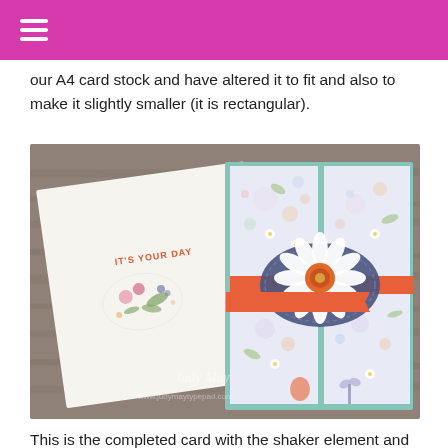≡
our A4 card stock and have altered it to fit and also to make it slightly smaller (it is rectangular).
[Figure (photo): Photo of two handmade greeting cards on a rustic wood background. The left card is white/cream with floral stamping and 'IT'S YOUR DAY' text in orange. The right card is a mint green gatefold/fun fold card with floral patterned paper panels, a large white daisy flower embellishment, an orange ribbon banner, and a dark blue stitched circle. Watermark reads 'Judy May' and 'www.judymaytypepad.com'.]
This is the completed card with the shaker element and